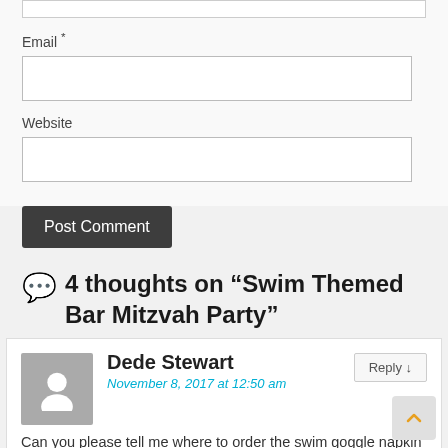Email *
Website
Post Comment
4 thoughts on “Swim Themed Bar Mitzvah Party”
Dede Stewart
November 8, 2017 at 12:50 am
Can you please tell me where to order the swim goggle napkin rings? We have a swim team here in Delmar NY and I would LOVE to surprise them with these at the
Reply ↓